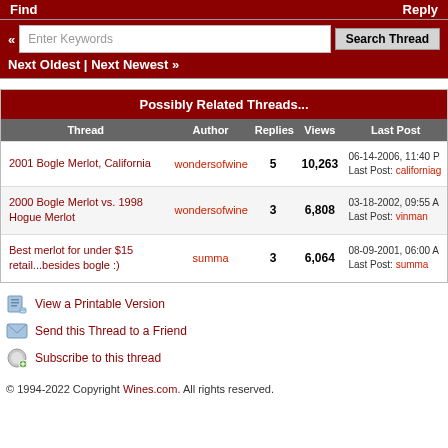Find | Reply
« Enter Keywords [Search Thread] Next Oldest | Next Newest »
| Thread | Author | Replies | Views | Last Post |
| --- | --- | --- | --- | --- |
| 2001 Bogle Merlot, California | wondersofwine | 5 | 10,263 | 06-14-2006, 11:40 P
Last Post: californiag |
| 2000 Bogle Merlot vs. 1998 Hogue Merlot | wondersofwine | 3 | 6,808 | 03-18-2002, 09:55 A
Last Post: vinman |
| Best merlot for under $15 retail...besides bogle :) | summa | 3 | 6,064 | 08-09-2001, 06:00 A
Last Post: summa |
View a Printable Version
Send this Thread to a Friend
Subscribe to this thread
© 1994-2022 Copyright Wines.com. All rights reserved.